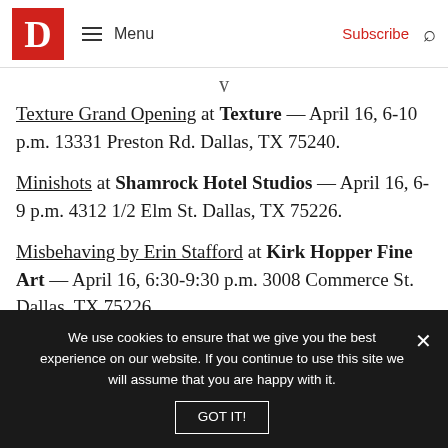D | Menu | Subscribe
Texture Grand Opening at Texture — April 16, 6-10 p.m. 13331 Preston Rd. Dallas, TX 75240.
Minishots at Shamrock Hotel Studios — April 16, 6-9 p.m. 4312 1/2 Elm St. Dallas, TX 75226.
Misbehaving by Erin Stafford at Kirk Hopper Fine Art — April 16, 6:30-9:30 p.m. 3008 Commerce St. Dallas, TX 75226.
We use cookies to ensure that we give you the best experience on our website. If you continue to use this site we will assume that you are happy with it.
GOT IT!